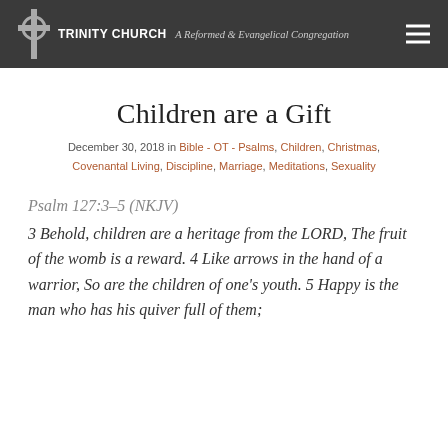TRINITY CHURCH A Reformed & Evangelical Congregation
Children are a Gift
December 30, 2018 in Bible - OT - Psalms, Children, Christmas, Covenantal Living, Discipline, Marriage, Meditations, Sexuality
Psalm 127:3–5 (NKJV)
3 Behold, children are a heritage from the LORD, The fruit of the womb is a reward. 4 Like arrows in the hand of a warrior, So are the children of one's youth. 5 Happy is the man who has his quiver full of them;